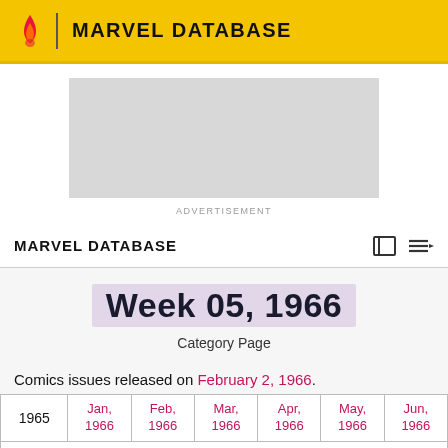MARVEL DATABASE
[Figure (other): Advertisement placeholder box]
ADVERTISEMENT
MARVEL DATABASE
Week 05, 1966
Category Page
Comics issues released on February 2, 1966.
| 1965 | Jan, 1966 | Feb, 1966 | Mar, 1966 | Apr, 1966 | May, 1966 | Jun, 1966 |
| --- | --- | --- | --- | --- | --- | --- |